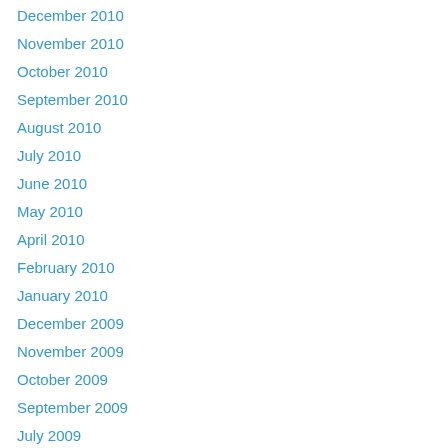December 2010
November 2010
October 2010
September 2010
August 2010
July 2010
June 2010
May 2010
April 2010
February 2010
January 2010
December 2009
November 2009
October 2009
September 2009
July 2009
June 2009
May 2009
April 2009
March 2009